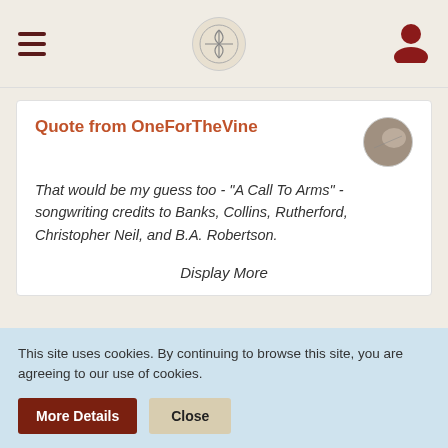[hamburger menu] [site logo] [user icon]
Quote from OneForTheVine
That would be my guess too - "A Call To Arms" - songwriting credits to Banks, Collins, Rutherford, Christopher Neil, and B.A. Robertson.
Display More
Interesting, I never knew that. Gives me the impetus to go back and check out this album. Remember enjoying it quite a lot a few years ago.
OneForTheVine likes this.
This site uses cookies. By continuing to browse this site, you are agreeing to our use of cookies. More Details Close